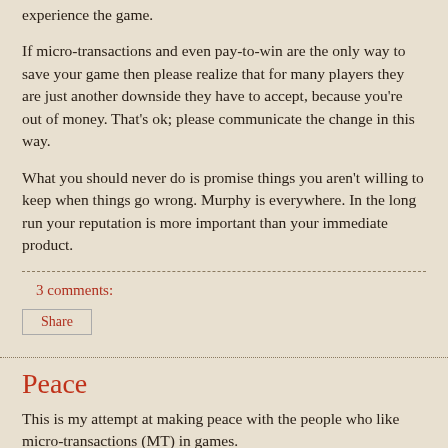experience the game.
If micro-transactions and even pay-to-win are the only way to save your game then please realize that for many players they are just another downside they have to accept, because you're out of money. That's ok; please communicate the change in this way.
What you should never do is promise things you aren't willing to keep when things go wrong. Murphy is everywhere. In the long run your reputation is more important than your immediate product.
3 comments:
Share
Peace
This is my attempt at making peace with the people who like micro-transactions (MT) in games.